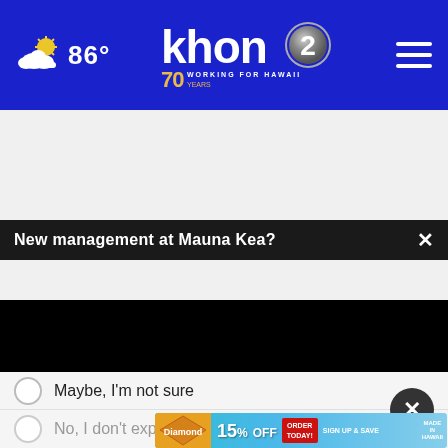[Figure (screenshot): KHON2 news website header with weather widget showing 86°, KHON2 logo with '70 years Working for Hawaii' tagline, and hamburger menu icon on blue background]
New management at Mauna Kea?
[Figure (screenshot): Black video player area embedded in news article]
Maybe, I'm not sure
No, I don't expect so
[Figure (infographic): Diamond Bakery advertisement: 15% OFF, Sign up & Save, Order Today! Made in Hawaii banner]